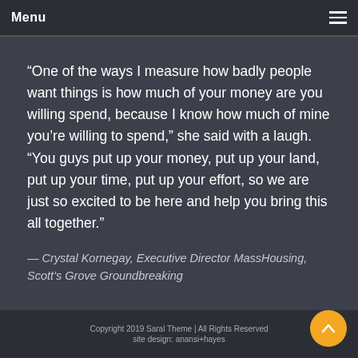Menu
“One of the ways I measure how badly people want things is how much of your money are you willing spend, because I know how much of mine you’re willing to spend,” she said with a laugh. “You guys put up your money, put up your land, put up your time, put up your effort, so we are just so excited to be here and help you bring this all together.”
— Crystal Kornegay, Executive Director MassHousing, Scott’s Grove Groundbreaking
Copyright 2019 Saral Theme | All Rights Reserved
site design: anansi+hayes